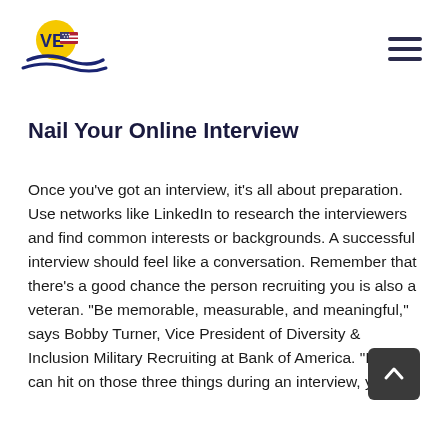VE [logo with American flag] [hamburger menu]
Nail Your Online Interview
Once you've got an interview, it's all about preparation. Use networks like LinkedIn to research the interviewers and find common interests or backgrounds. A successful interview should feel like a conversation. Remember that there's a good chance the person recruiting you is also a veteran. “Be memorable, measurable, and meaningful,” says Bobby Turner, Vice President of Diversity & Inclusion Military Recruiting at Bank of America. “If you can hit on those three things during an interview, you will
[Figure (other): Scroll-to-top button overlay (dark rounded square with upward chevron arrow)]